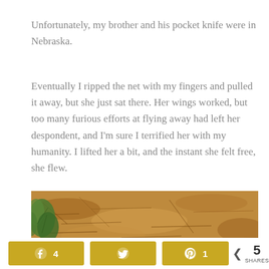Unfortunately, my brother and his pocket knife were in Nebraska.
Eventually I ripped the net with my fingers and pulled it away, but she just sat there. Her wings worked, but too many furious efforts at flying away had left her despondent, and I'm sure I terrified her with my humanity. I lifted her a bit, and the instant she felt free, she flew.
[Figure (photo): Outdoor photo showing mulch/straw ground cover with green plants at the left edge]
Facebook 4 | Twitter | Pinterest 1 | 5 SHARES